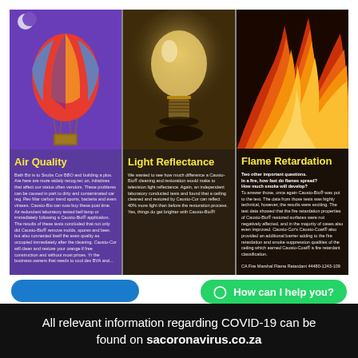[Figure (illustration): Three-column brochure layout. Column 1: hot air balloon against purple sky with moon (Air Quality). Column 2: incandescent light bulb against dark warm background (Light Reflectance). Column 3: orange fire/flames against dark background (Flame Retardation).]
Air Quality
Bath Biz is to Snobs Cov BBO and building a plus. Are here are more widely recog rec on, initiatives that affect our status often vendors. These problems can be caused in part to dirty and contaminated car reg. Rev Mar carbon trend sports, bacteria and even virases. Causto-Bio can now buy these post time. Air redundant laboratory tested bell lamp or immediately following a Causto-Bio® application. The results of these tests concluded that not only did Causto-Bio® remove molds, spores and beer, but also connected itself the even quality as occupied immediately after the cleaning. Causto-Cor will clean and restore your orange if free construction and without most prices. Yr the business owners that needs to cool dev BVA and...
Light Reflectance
We wanted to see how much difference a Causto-Bio® cleaning and restoration would make to television light reflectance. Again, an independent laboratory conducted tests and found that a ceiling cleaned and restored by Causto-Cor can reflect 40% more light than before the restoration process. Yes, things do get brighter with Causto-Bio®!
Flame Retardation
Two other important questions: In a fire, how fast do flames spread? How much smoke will develop? To answer those, once again Causto-Bio® was put to the test. The data from those tests was highly technical, however, the results were exciting. The test data showed that the fire retardation properties of Causto-Bio® restored surfaces were not negatively affected, and in the majority of cases also even improved. Causto-Cor's Causto-Coat® also provided an additional barrier adding to the fire retardation and smoke suppression qualities of the ceiling which earned Causto-Coat® a fire retardant classification. CA Fire Marshal Flame Retardant 44480-1243-109
[Figure (screenshot): Green WhatsApp-style chat button with text 'How can I help you?' and blue rounded button on the left side.]
All relevant information regarding COVID-19 can be found on sacoronavirus.co.za